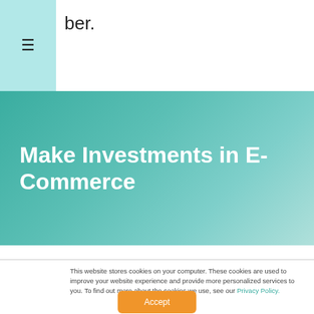≡ ber.
Make Investments in E-Commerce
This website stores cookies on your computer. These cookies are used to improve your website experience and provide more personalized services to you. To find out more about the cookies we use, see our Privacy Policy.
Accept